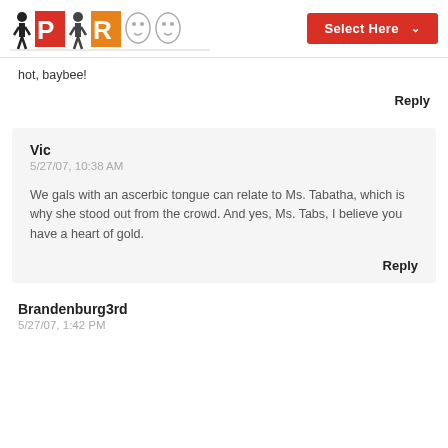PR logo header with Select Here dropdown
hot, baybee!
Reply
Vic
5/27/07, 10:38 AM

We gals with an ascerbic tongue can relate to Ms. Tabatha, which is why she stood out from the crowd. And yes, Ms. Tabs, I believe you have a heart of gold.

Reply
Brandenburg3rd
5/27/07, 1:42 PM